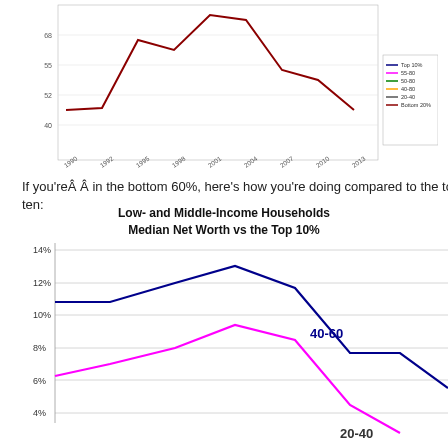[Figure (line-chart): Partial line chart visible at top of page showing a dark red line with values from ~1990 to 2013, y-axis range roughly 40-70, with legend showing Top 10%, 55-80, 50-80, 40-80, 20-40, Bottom 20%]
If you'reÂ Â in the bottom 60%, here's how you're doing compared to the top ten:
[Figure (line-chart): Low- and Middle-Income Households Median Net Worth vs the Top 10%]